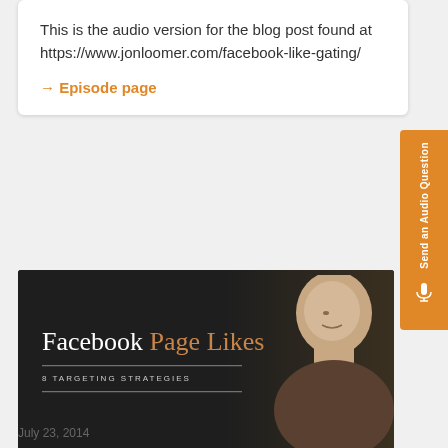This is the audio version for the blog post found at https://www.jonloomer.com/facebook-like-gating/
→ Episode page
[Figure (photo): Dark banner image for 'Facebook Page Likes - 8 Targeting Strategies' featuring a man in profile on the right side, Jon Loomer branding]
July 23, 2014